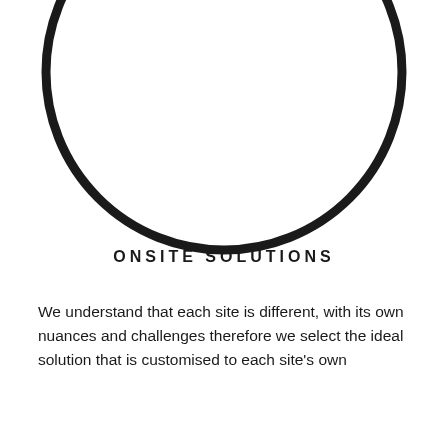[Figure (illustration): A large thin-stroked circle outline, partially cropped at the top and sides, centered on the upper portion of the page. The circle has a thick black stroke on a white background.]
ONSITE SOLUTIONS
We understand that each site is different, with its own nuances and challenges therefore we select the ideal solution that is customised to each site's own...